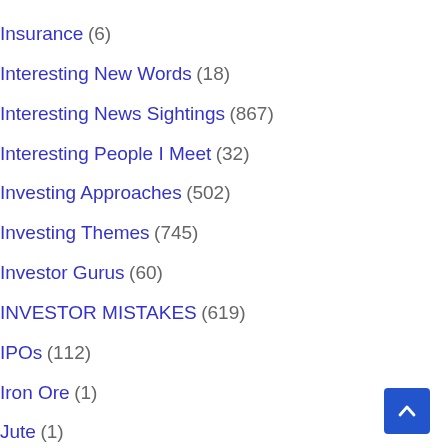Insurance (6)
Interesting New Words (18)
Interesting News Sightings (867)
Interesting People I Meet (32)
Investing Approaches (502)
Investing Themes (745)
Investor Gurus (60)
INVESTOR MISTAKES (619)
IPOs (112)
Iron Ore (1)
Jute (1)
Kingfisher Airlines ~ Machiavellian Mallyas (15)
Laminated Packaging (1)